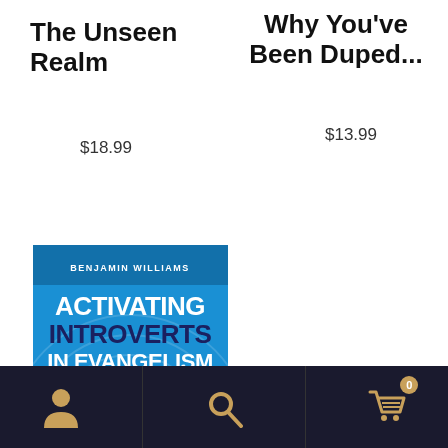The Unseen Realm
$18.99
Why You've Been Duped...
$13.99
[Figure (photo): Book cover for 'Activating Introverts in Evangelism' by Benjamin Williams. Blue background with concentric circle graphic. Subtitle: 'Feel the joy of sharing about Jesus without the pressure of pretending to be an extrovert']
Navigation bar with user icon, search icon, and shopping cart icon with badge showing 0